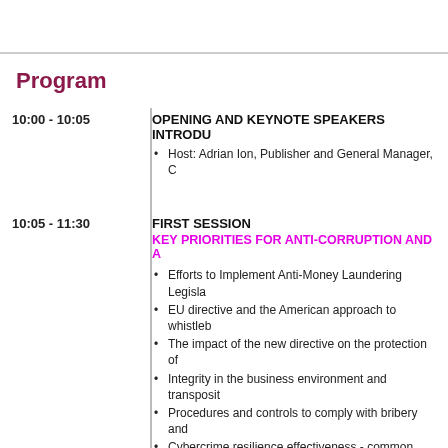Program
10:00 - 10:05
OPENING AND KEYNOTE SPEAKERS INTRODUCTION
Host: Adrian Ion, Publisher and General Manager, C
10:05 - 11:30
FIRST SESSION
KEY PRIORITIES FOR ANTI-CORRUPTION AND A
Efforts to Implement Anti-Money Laundering Legisla
EU directive and the American approach to whistleb
The impact of the new directive on the protection of
Integrity in the business environment and transposit
Procedures and controls to comply with bribery and
Cybercrime resilience effectiveness - common mista
EU directive on the protection of persons reporting b Directive - the need for internal corporate procedure.
SPEAKERS:
Anton Rog - Head of National Cyberint Center (CN (SRI)
Cristian Zaharia - Manager in the Forensic & Integ Discovery at EY Romania